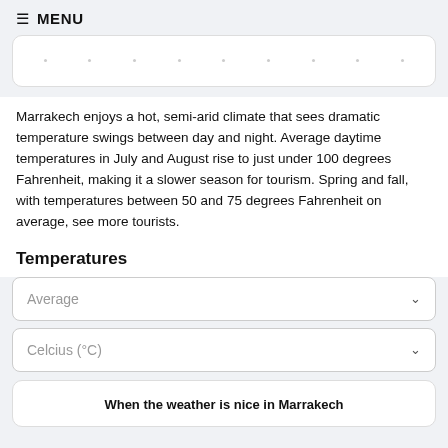≡ MENU
[Figure (other): Partially visible chart card with dots/axes at top of page]
Marrakech enjoys a hot, semi-arid climate that sees dramatic temperature swings between day and night. Average daytime temperatures in July and August rise to just under 100 degrees Fahrenheit, making it a slower season for tourism. Spring and fall, with temperatures between 50 and 75 degrees Fahrenheit on average, see more tourists.
Temperatures
Average
Celcius (°C)
When the weather is nice in Marrakech